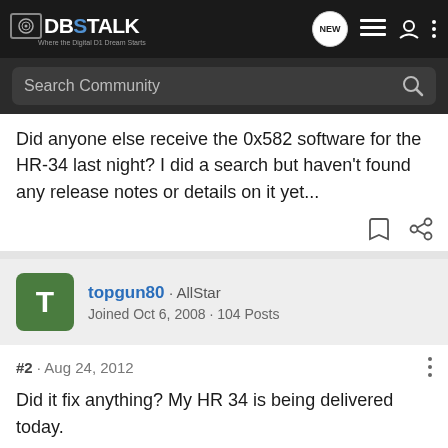DBSTALK - Where the Digital D1 Dream Starts - Search Community
Did anyone else receive the 0x582 software for the HR-34 last night? I did a search but haven't found any release notes or details on it yet...
topgun80 · AllStar
Joined Oct 6, 2008 · 104 Posts
#2 · Aug 24, 2012
Did it fix anything? My HR 34 is being delivered today.